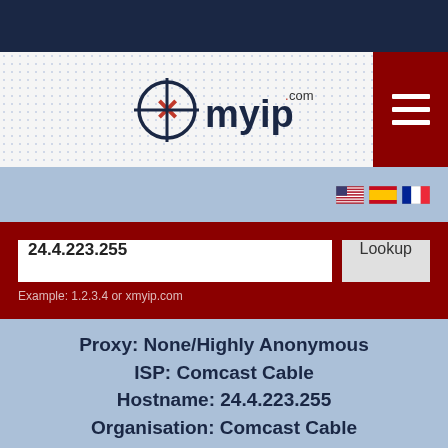[Figure (logo): xmyip.com logo with crosshair X icon]
24.4.223.255
Lookup
Example: 1.2.3.4 or xmyip.com
Proxy: None/Highly Anonymous
ISP: Comcast Cable
Hostname: 24.4.223.255
Organisation: Comcast Cable
City: Milpitas
Region: California
Country: United States 🇺🇸